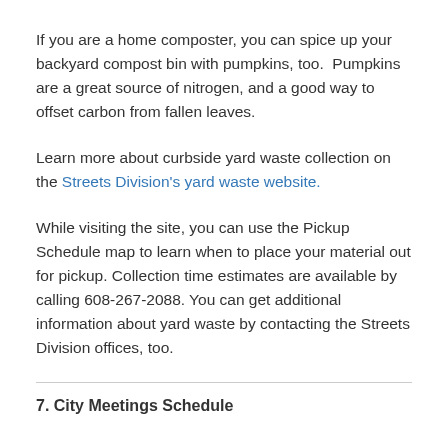If you are a home composter, you can spice up your backyard compost bin with pumpkins, too.  Pumpkins are a great source of nitrogen, and a good way to offset carbon from fallen leaves.
Learn more about curbside yard waste collection on the Streets Division's yard waste website.
While visiting the site, you can use the Pickup Schedule map to learn when to place your material out for pickup. Collection time estimates are available by calling 608-267-2088. You can get additional information about yard waste by contacting the Streets Division offices, too.
7. City Meetings Schedule